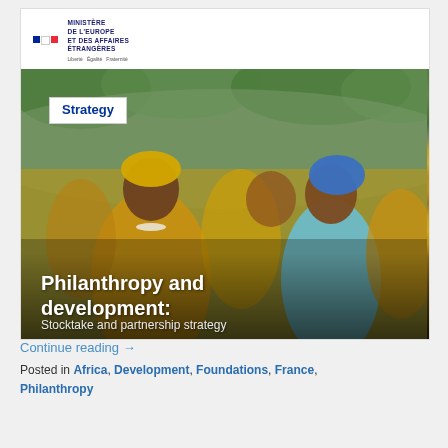[Figure (logo): French Ministry logo: tricolor flag squares with text MINISTÈRE DE L'EUROPE ET DES AFFAIRES ÉTRANGÈRES]
[Figure (photo): Photo of African women in colorful yellow traditional clothing and headdresses. Overlaid text: 'Strategy' badge (white box, blue text), 'Philanthropy and development:' (large white bold text), 'Stocktake and partnership strategy' (smaller white text).]
Continue reading →
Posted in Africa, Development, Foundations, France, Philanthropy